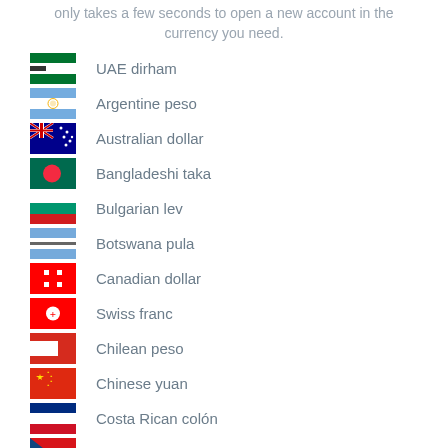only takes a few seconds to open a new account in the currency you need.
UAE dirham
Argentine peso
Australian dollar
Bangladeshi taka
Bulgarian lev
Botswana pula
Canadian dollar
Swiss franc
Chilean peso
Chinese yuan
Costa Rican colón
Czech koruna